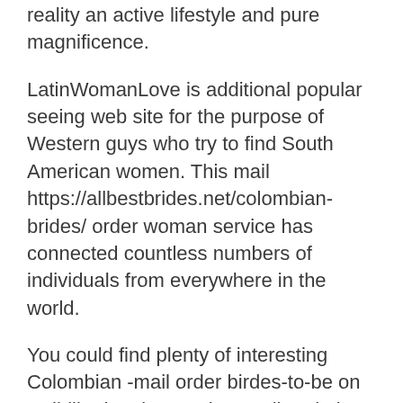reality an active lifestyle and pure magnificence.
LatinWomanLove is additional popular seeing web site for the purpose of Western guys who try to find South American women. This mail https://allbestbrides.net/colombian-brides/ order woman service has connected countless numbers of individuals from everywhere in the world.
You could find plenty of interesting Colombian -mail order birdes-to-be on well-liked Latin American online dating sites. Taking into consideration the fact that these young ladies make ideal partners until now and de-stress with is just another reason for what reason you must night out a Colombian female. Some young girls merely usually remain well-groomed because of a insufficient period or money.